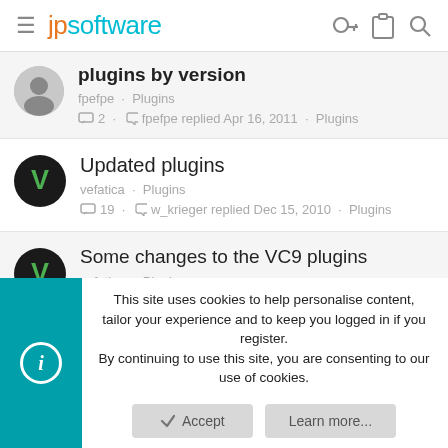jpsoftware
plugins by version · fpefpe · Plugins · 2 · fpefpe replied Apr 16, 2011 · Plugins
Updated plugins · vefatica · Plugins · 19 · w_krieger replied Dec 15, 2010 · Plugins
Some changes to the VC9 plugins · vefatica · Plugins · 1 · Stefano Piccardi replied Feb 17, 2009 · Plugins
This site uses cookies to help personalise content, tailor your experience and to keep you logged in if you register. By continuing to use this site, you are consenting to our use of cookies.